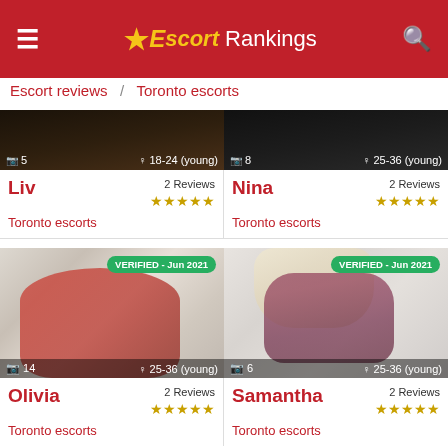≡  ★Escort Rankings  🔍
Escort reviews  /  Toronto escorts
[Figure (screenshot): Cropped escort listing card for Liv - dark hair partial photo, showing camera icon 5, age 18-24 (young)]
Liv  2 Reviews ★★★★★  Toronto escorts
[Figure (screenshot): Cropped escort listing card for Nina - dark partial photo, showing camera icon 8, age 25-36 (young)]
Nina  2 Reviews ★★★★★  Toronto escorts
[Figure (photo): Escort listing photo for Olivia - verified Jun 2021, woman in red lingerie lying on white surface. Camera icon 14, age 25-36 (young)]
Olivia  2 Reviews ★★★★★  Toronto escorts
[Figure (photo): Escort listing photo for Samantha - verified Jun 2021, blonde woman from behind in burgundy lingerie. Camera icon 6, age 25-36 (young)]
Samantha  2 Reviews ★★★★★  Toronto escorts